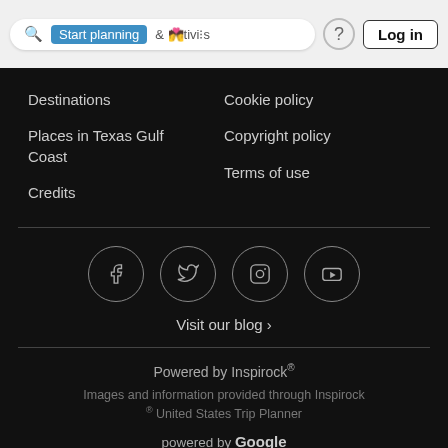[Figure (screenshot): Website navigation top bar with search box showing 'Start planning', icons, and Log in button]
Destinations
Places in Texas Gulf Coast
Credits
Cookie policy
Copyright policy
Terms of use
[Figure (infographic): Social media icons: Facebook, Twitter, Instagram, YouTube in circular borders]
Visit our blog ›
Powered by Inspirock®
Images and information provided through Inspirock ® United States Trip Planner
powered by Google